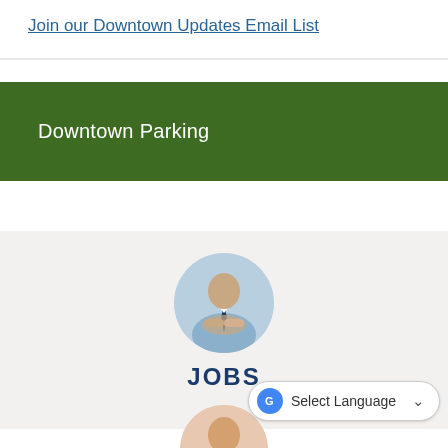Join our Downtown Updates Email List
Downtown Parking
[Figure (photo): Circular photo of two people shaking hands, business attire, light blue background]
JOBS
[Figure (photo): Circular photo partially visible at bottom, appears to show a person]
Select Language